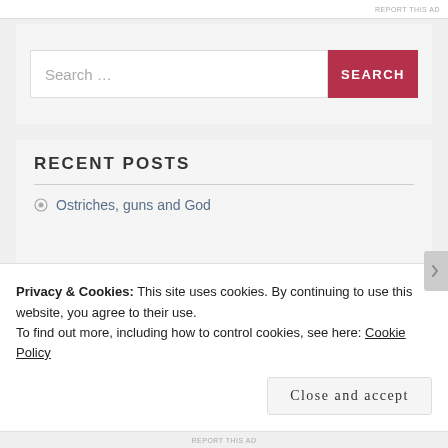REPORT THIS AD
Search ...
RECENT POSTS
Ostriches, guns and God
Privacy & Cookies: This site uses cookies. By continuing to use this website, you agree to their use.
To find out more, including how to control cookies, see here: Cookie Policy
Close and accept